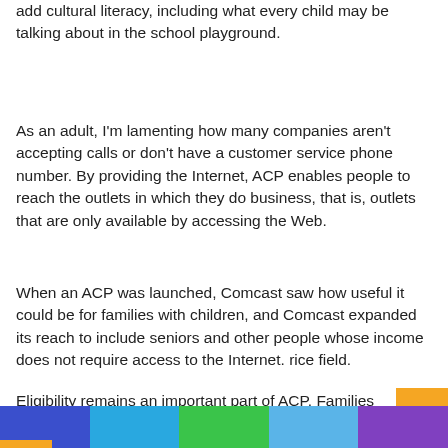add cultural literacy, including what every child may be talking about in the school playground.
As an adult, I'm lamenting how many companies aren't accepting calls or don't have a customer service phone number. By providing the Internet, ACP enables people to reach the outlets in which they do business, that is, outlets that are only available by accessing the Web.
When an ACP was launched, Comcast saw how useful it could be for families with children, and Comcast expanded its reach to include seniors and other people whose income does not require access to the Internet. rice field.
Eligibility remains an important part of ACP. Families must qualify based on several criteria that will be reviewed by